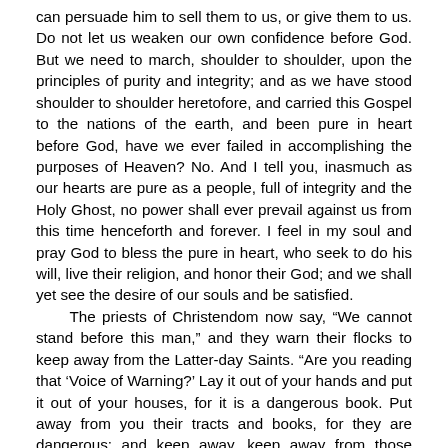can persuade him to sell them to us, or give them to us. Do not let us weaken our own confidence before God. But we need to march, shoulder to shoulder, upon the principles of purity and integrity; and as we have stood shoulder to shoulder heretofore, and carried this Gospel to the nations of the earth, and been pure in heart before God, have we ever failed in accomplishing the purposes of Heaven? No. And I tell you, inasmuch as our hearts are pure as a people, full of integrity and the Holy Ghost, no power shall ever prevail against us from this time henceforth and forever. I feel in my soul and pray God to bless the pure in heart, who seek to do his will, live their religion, and honor their God; and we shall yet see the desire of our souls and be satisfied.
	The priests of Christendom now say, “We cannot stand before this man,” and they warn their flocks to keep away from the Latter-day Saints. “Are you reading that ‘Voice of Warning?’ Lay it out of your hands and put it out of your houses, for it is a dangerous book. Put away from you their tracts and books, for they are dangerous; and keep away, keep away from those dangerous men that are turning the world upside down.” That is the cry throughout the world. What will be the cry when they